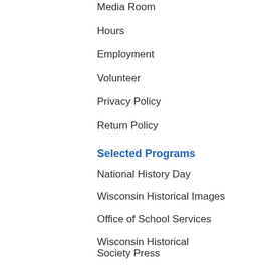Media Room
Hours
Employment
Volunteer
Privacy Policy
Return Policy
Selected Programs
National History Day
Wisconsin Historical Images
Office of School Services
Wisconsin Historical Society Press
State Historic Preservation Officer (SHPO)
State Archives & Gov. Publications